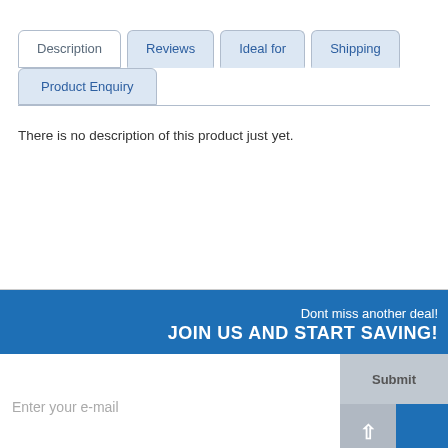Description
Reviews
Ideal for
Shipping
Product Enquiry
There is no description of this product just yet.
Dont miss another deal!
JOIN US AND START SAVING!
Enter your e-mail
Submit